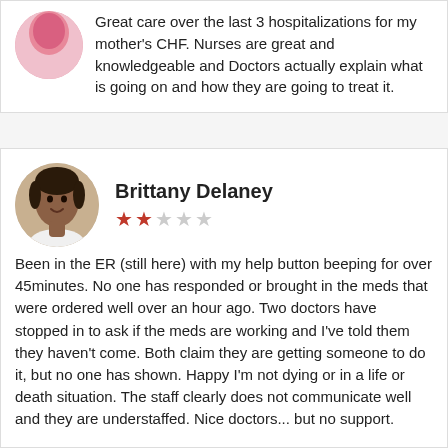Great care over the last 3 hospitalizations for my mother's CHF. Nurses are great and knowledgeable and Doctors actually explain what is going on and how they are going to treat it.
Brittany Delaney
★★☆☆☆ (2 out of 5 stars)
Been in the ER (still here) with my help button beeping for over 45minutes. No one has responded or brought in the meds that were ordered well over an hour ago. Two doctors have stopped in to ask if the meds are working and I've told them they haven't come. Both claim they are getting someone to do it, but no one has shown. Happy I'm not dying or in a life or death situation. The staff clearly does not communicate well and they are understaffed. Nice doctors... but no support.